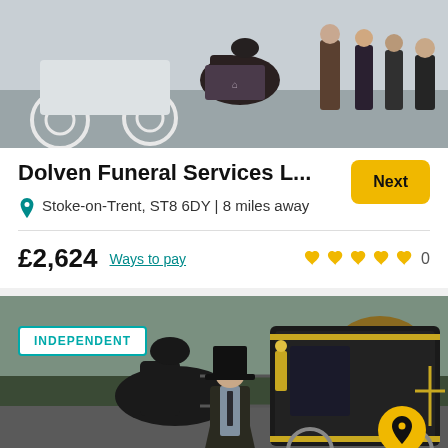[Figure (photo): Photo of horse-drawn funeral carriage with white carriages on left and people in formal dress on right]
Dolven Funeral Services L...
Stoke-on-Trent, ST8 6DY | 8 miles away
£2,624  Ways to pay  0 (stars)
[Figure (photo): Photo of a man in top hat and formal suit standing with a black horse and ornate black carriage. INDEPENDENT badge overlay and location pin icon.]